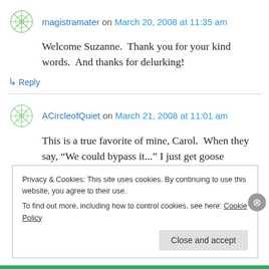magistramater on March 20, 2008 at 11:35 am
Welcome Suzanne.  Thank you for your kind words.  And thanks for delurking!
↳ Reply
ACircleofQuiet on March 21, 2008 at 11:01 am
This is a true favorite of mine, Carol.  When they say, “We could bypass it...” I just get goose
Privacy & Cookies: This site uses cookies. By continuing to use this website, you agree to their use.
To find out more, including how to control cookies, see here: Cookie Policy
Close and accept